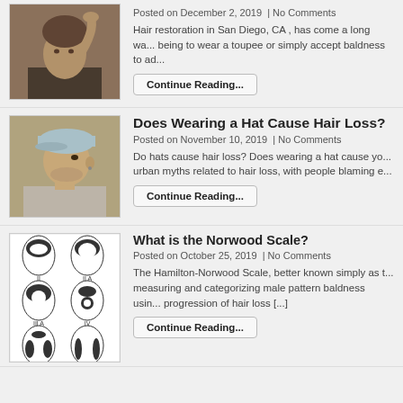[Figure (photo): Man touching his head looking concerned about hair loss]
Posted on December 2, 2019  | No Comments
Hair restoration in San Diego, CA , has come a long wa... being to wear a toupee or simply accept baldness to ad...
Continue Reading...
[Figure (photo): Man wearing a light blue cap]
Does Wearing a Hat Cause Hair Loss?
Posted on November 10, 2019  | No Comments
Do hats cause hair loss? Does wearing a hat cause yo... urban myths related to hair loss, with people blaming e...
Continue Reading...
[Figure (illustration): Norwood Scale diagram showing stages of male pattern baldness]
What is the Norwood Scale?
Posted on October 25, 2019  | No Comments
The Hamilton-Norwood Scale, better known simply as t... measuring and categorizing male pattern baldness usin... progression of hair loss [...]
Continue Reading...